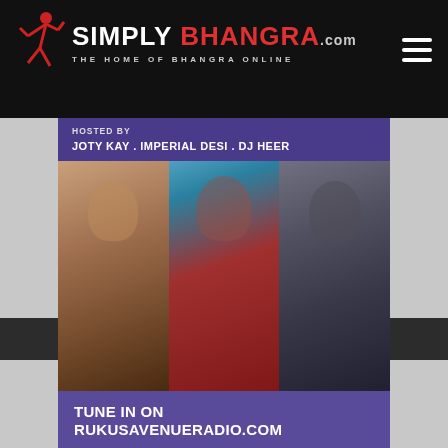SIMPLY BHANGRA.COM — THE HOME OF BHANGRA ONLINE
[Figure (screenshot): Promotional image for a Bhangra radio show hosted by Joty Kay, Imperial Desi, and DJ Heer. Shows three DJs/performers, with text: HOSTED BY JOTY KAY . IMPERIAL DESI . DJ HEER, TUNE IN ON RUKUSAVENUERADIO.COM, DASH ALSO AVAILABLE ON THE DASHRADIO APP, THE WORLD'S #1]
Copyright © 2021 SimplyBhangra.com. All rights reserved.
[Figure (infographic): Social media sharing icons: Facebook, Twitter, LinkedIn, Pinterest, More (+)]